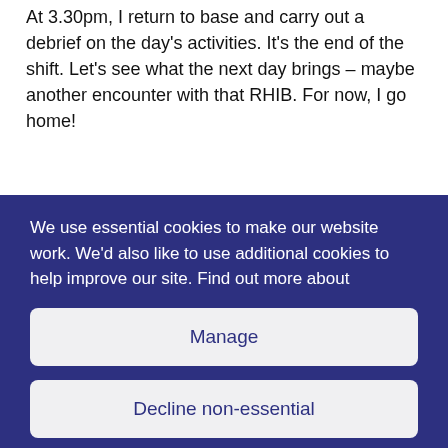At 3.30pm, I return to base and carry out a debrief on the day's activities. It's the end of the shift. Let's see what the next day brings – maybe another encounter with that RHIB. For now, I go home!
We use essential cookies to make our website work. We'd also like to use additional cookies to help improve our site. Find out more about
Manage
Decline non-essential
Accept all